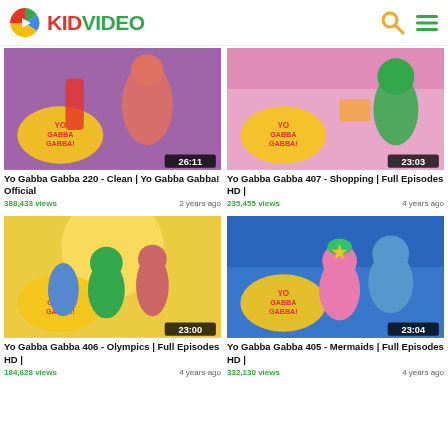KIDVIDEO
[Figure (screenshot): Yo Gabba Gabba thumbnail showing colorful monster characters, duration 26:11]
Yo Gabba Gabba 220 - Clean | Yo Gabba Gabba! Official
388,433 views   2 years ago
[Figure (screenshot): Yo Gabba Gabba thumbnail showing characters in a store, duration 23:03]
Yo Gabba Gabba 407 - Shopping | Full Episodes HD |
235,455 views   4 years ago
[Figure (screenshot): Yo Gabba Gabba thumbnail showing characters in Olympics setting, duration 23:00]
Yo Gabba Gabba 406 - Olympics | Full Episodes HD |
184,628 views   4 years ago
[Figure (screenshot): Yo Gabba Gabba thumbnail showing mermaid characters underwater, duration 23:04]
Yo Gabba Gabba 405 - Mermaids | Full Episodes HD |
332,130 views   4 years ago